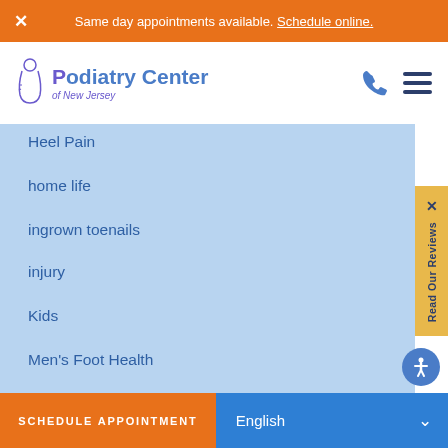Same day appointments available. Schedule online.
[Figure (logo): Podiatry Center of New Jersey logo with stylized foot icon]
Heel Pain
home life
ingrown toenails
injury
Kids
Men's Foot Health
nail fungus
Nerve Damage
Neuroma
neuropathy
numbness
nutrition
orthotics
overlapping toes
Read Our Reviews
SCHEDULE APPOINTMENT | English